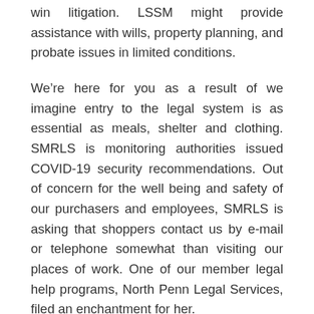win litigation. LSSM might provide assistance with wills, property planning, and probate issues in limited conditions.
We’re here for you as a result of we imagine entry to the legal system is as essential as meals, shelter and clothing. SMRLS is monitoring authorities issued COVID-19 security recommendations. Out of concern for the well being and safety of our purchasers and employees, SMRLS is asking that shoppers contact us by e-mail or telephone somewhat than visiting our places of work. One of our member legal help programs, North Penn Legal Services, filed an enchantment for her.